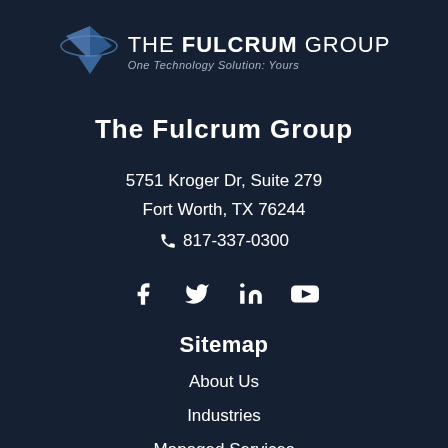[Figure (logo): The Fulcrum Group logo with geometric diamond-like blue shapes and the text 'THE FULCRUM GROUP' and tagline 'One Technology Solution: Yours']
The Fulcrum Group
5751 Kroger Dr, Suite 279
Fort Worth, TX 76244
817-337-0300
[Figure (illustration): Social media icons: Facebook, Twitter, LinkedIn, YouTube]
Sitemap
About Us
Industries
Managed Services
Cloud Services